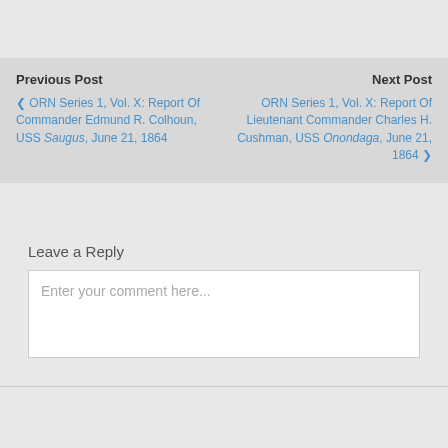Previous Post
❮ ORN Series 1, Vol. X: Report Of Commander Edmund R. Colhoun, USS Saugus, June 21, 1864
Next Post
ORN Series 1, Vol. X: Report Of Lieutenant Commander Charles H. Cushman, USS Onondaga, June 21, 1864 ❯
Leave a Reply
Enter your comment here...